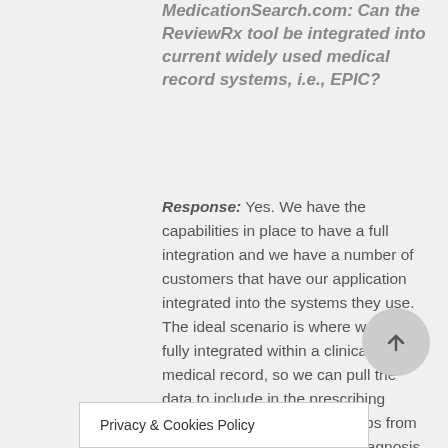MedicationSearch.com: Can the ReviewRx tool be integrated into current widely used medical record systems, i.e., EPIC?
Response: Yes. We have the capabilities in place to have a full integration and we have a number of customers that have our application integrated into the systems they use. The ideal scenario is where we are fully integrated within a clinical medical record, so we can pull the data to include in the prescribing algorithms. We can pull the labs from our patient. We can pull the diagnosis of the patient. We can pull the comorbidities. We will be pulling the other medications from different specialties, facilitating communication between specialties. You don't know what the u...
Privacy & Cookies Policy